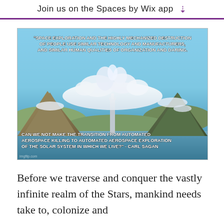Join us on the Spaces by Wix app ↓
[Figure (illustration): Science fiction illustration of a futuristic floating space city/station above a landscape with mountains and water, with two overlaid text quotes. Top quote: '"SPACE EXPLORATION AND THE HIGHLY MECHANIZED DESTRUCTION OF PEOPLE USE SIMILAR TECHNOLOGY AND MANUFACTURERS, AND SIMILAR HUMAN QUALITIES OF ORGANIZATION AND DARING.' Bottom quote: 'CAN WE NOT MAKE THE TRANSITION FROM AUTOMATED AEROSPACE KILLING TO AUTOMATED AEROSPACE EXPLORATION OF THE SOLAR SYSTEM IN WHICH WE LIVE?" - CARL SAGAN']
Before we traverse and conquer the vastly infinite realm of the Stars, mankind needs take to, colonize and